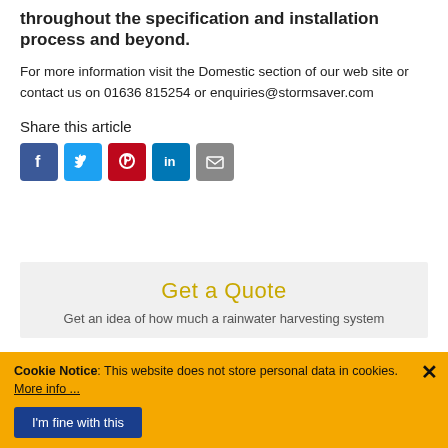levels and you can guarantee we will support you throughout the specification and installation process and beyond.
For more information visit the Domestic section of our web site or contact us on 01636 815254 or enquiries@stormsaver.com
Share this article
[Figure (infographic): Row of 5 social media share icons: Facebook (blue), Twitter (light blue), Pinterest (red), LinkedIn (dark blue), Email (grey)]
Get a Quote
Get an idea of how much a rainwater harvesting system
Cookie Notice: This website does not store personal data in cookies. More info ...
I'm fine with this